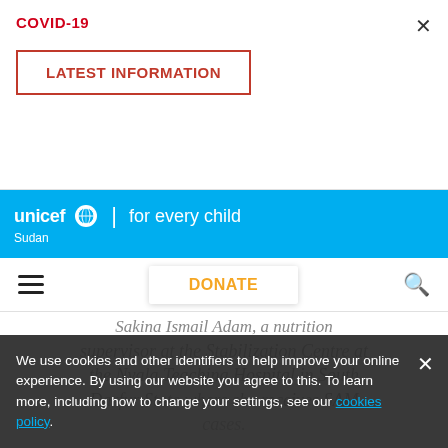COVID-19
LATEST INFORMATION
[Figure (logo): UNICEF logo with globe icon and tagline 'for every child', Sudan sub-label, on cyan/blue background]
DONATE
Sakina Ismail Adam, a nutrition supervisor at the Stabilization Centre at the Nyala Teaching Hospital in South Darfur State where she receives SAM cases.
We use cookies and other identifiers to help improve your online experience. By using our website you agree to this. To learn more, including how to change your settings, see our cookies policy.